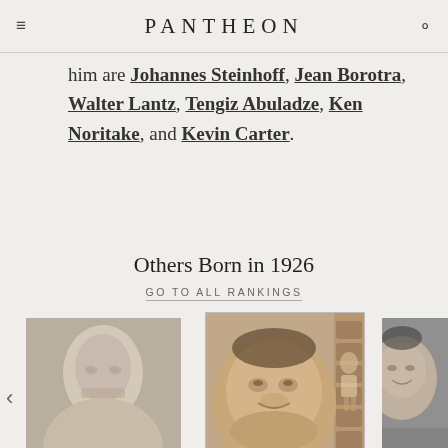PANTHEON
him are Johannes Steinhoff, Jean Borotra, Walter Lantz, Tengiz Abuladze, Ken Noritake, and Kevin Carter.
Others Born in 1926
GO TO ALL RANKINGS
[Figure (photo): Partial portrait photo of a man in grayscale (left card, cropped, name partially visible as AISON)]
[Figure (photo): Portrait illustration/photo of Yevgeny Leonov with a film-strip style background showing a full-body figure]
YEVGENY LEONOV
1926 - 1994
HPI: 57.15
[Figure (photo): Partial portrait photo of a woman in grayscale (right card, cropped, name partially visible as JOHN DERI)]
JOHN DERI
1926 - 1998
HPI: 56.97
Rank: 114